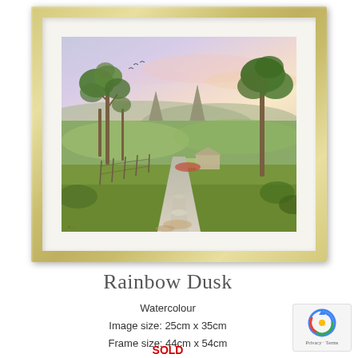[Figure (illustration): A framed watercolour painting showing a rural landscape at dusk. The scene features a dirt road leading toward distant pointed mountain peaks (Glass House Mountains), with gum trees on left and right, green fields, a fence, and buildings in the middle ground. The sky has soft pastel pink and lavender tones suggesting sunset. The painting is mounted in a white mat within a gold/silver frame.]
Rainbow Dusk
Watercolour
Image size: 25cm x 35cm
Frame size: 44cm x 54cm
SOLD